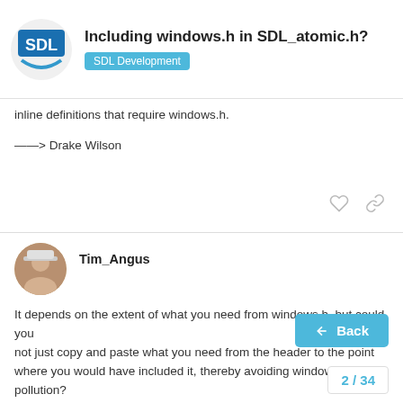Including windows.h in SDL_atomic.h? — SDL Development
inline definitions that require windows.h.
——> Drake Wilson
Tim_Angus   Jan '11
It depends on the extent of what you need from windows.h, but could you not just copy and paste what you need from the header to the point where you would have included it, thereby avoiding windows.h pollution?

I know it's not exactly C programming best practice, but what you want is relatively simple and unchanging it...